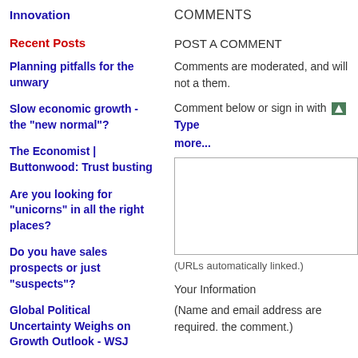Innovation
Recent Posts
Planning pitfalls for the unwary
Slow economic growth - the "new normal"?
The Economist | Buttonwood: Trust busting
Are you looking for "unicorns" in all the right places?
Do you have sales prospects or just "suspects"?
Global Political Uncertainty Weighs on Growth Outlook - WSJ
Brexit: a "test case for
COMMENTS
POST A COMMENT
Comments are moderated, and will not a them.
Comment below or sign in with  Type more...
(URLs automatically linked.)
Your Information
(Name and email address are required. the comment.)